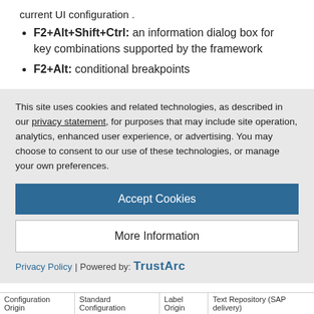current UI configuration .
F2+Alt+Shift+Ctrl: an information dialog box for key combinations supported by the framework
F2+Alt: conditional breakpoints
What is the correct component to search for notes/KBAs?
Also here, my friend F2 help supports me. Using F2 on a field, I am told to which application component is in charge of the
This site uses cookies and related technologies, as described in our privacy statement, for purposes that may include site operation, analytics, enhanced user experience, or advertising. You may choose to consent to our use of these technologies, or manage your own preferences.
Accept Cookies
More Information
Privacy Policy | Powered by: TrustArc
| Configuration Origin | Standard Configuration | Label Origin | Text Repository (SAP delivery) |
| --- | --- | --- | --- |